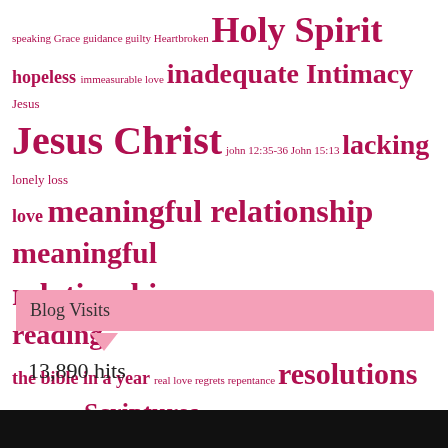[Figure (infographic): Word cloud with religious and emotional terms in varying sizes and shades of pink/crimson. Terms include Holy Spirit, Jesus Christ, meaningful relationship, meaningful relationships, reading the bible in a year, resolutions, Scriptures, The word of God, unworthy, worthless, and many smaller terms.]
Blog Visits
13,890 hits